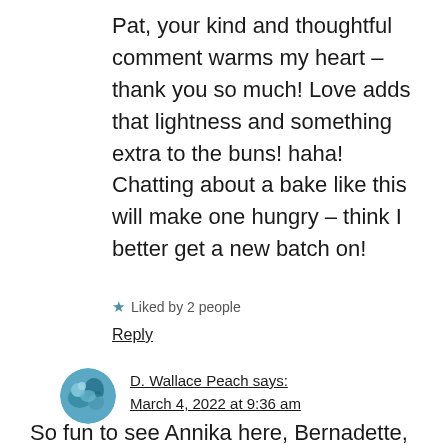Pat, your kind and thoughtful comment warms my heart – thank you so much! Love adds that lightness and something extra to the buns! haha! Chatting about a bake like this will make one hungry – think I better get a new batch on!
★ Liked by 2 people
Reply
[Figure (illustration): Circular avatar image showing a blue and green abstract illustration]
D. Wallace Peach says: March 4, 2022 at 9:36 am
So fun to see Annika here, Bernadette,